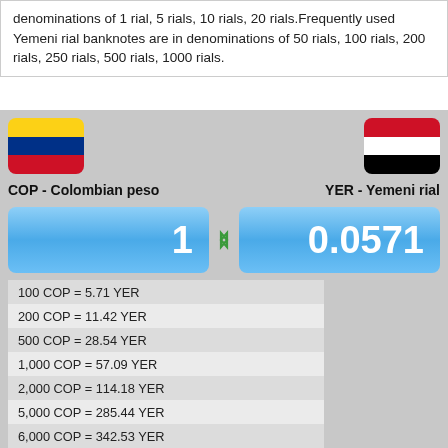denominations of 1 rial, 5 rials, 10 rials, 20 rials.Frequently used Yemeni rial banknotes are in denominations of 50 rials, 100 rials, 200 rials, 250 rials, 500 rials, 1000 rials.
[Figure (infographic): Currency converter widget showing COP (Colombian peso) to YER (Yemeni rial). Left side shows Colombian flag, right side shows Yemeni flag. Input fields show 1 COP = 0.0571 YER. Below is a conversion table.]
| 100 COP = 5.71 YER |
| 200 COP = 11.42 YER |
| 500 COP = 28.54 YER |
| 1,000 COP = 57.09 YER |
| 2,000 COP = 114.18 YER |
| 5,000 COP = 285.44 YER |
| 6,000 COP = 342.53 YER |
| 10,000 COP = 570.88 YER |
| 20,000 COP = 1,141.76 YER |
| 30,000 COP = 1,712.63 YER |
| 50,000 COP = 2,854.39 YER |
| 100,000 COP = 5,708.78 YER |